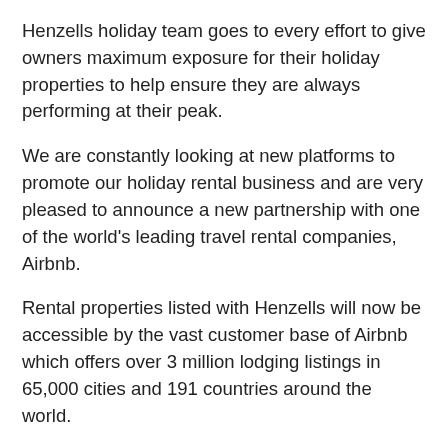Henzells holiday team goes to every effort to give owners maximum exposure for their holiday properties to help ensure they are always performing at their peak.
We are constantly looking at new platforms to promote our holiday rental business and are very pleased to announce a new partnership with one of the world's leading travel rental companies, Airbnb.
Rental properties listed with Henzells will now be accessible by the vast customer base of Airbnb which offers over 3 million lodging listings in 65,000 cities and 191 countries around the world.
Our integration with Airbnb is in addition to properties also appearing on our own Accom Caloundra website which we have recently upgraded to make even more user friendly, plus sister sites Stayz, HomeAway and TripAdvisor.
Owners also benefit from extensive social media and